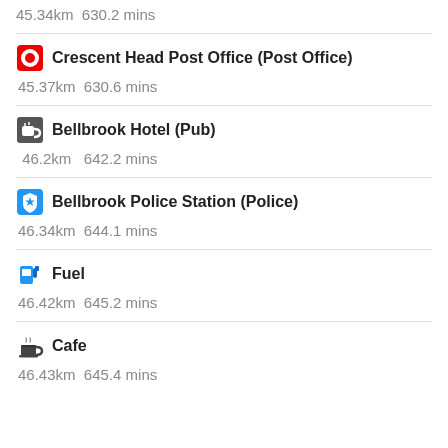45.34km  630.2 mins
Crescent Head Post Office (Post Office)
45.37km  630.6 mins
Bellbrook Hotel (Pub)
46.2km  642.2 mins
Bellbrook Police Station (Police)
46.34km  644.1 mins
Fuel
46.42km  645.2 mins
Cafe
46.43km  645.4 mins